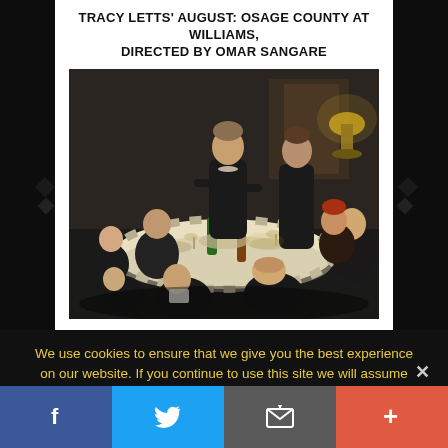TRACY LETTS' AUGUST: OSAGE COUNTY AT WILLIAMS, DIRECTED BY OMAR SANGARE
[Figure (photo): A theatrical scene showing actors around a dinner table. A woman in black stands at the center. Multiple people dressed in dark clothing sit around a striped tablecloth-covered table with bottles, glasses, and dishes.]
We use cookies to ensure that we give you the best experience on our website. If you continue to use this site we will assume that you are happy with it.
Facebook | Twitter | Email | +